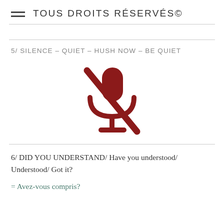TOUS DROITS RÉSERVÉS©
5/ SILENCE – QUIET – HUSH NOW – BE QUIET
[Figure (illustration): A dark red muted microphone icon — a microphone silhouette with a diagonal slash through it, indicating silence or muting.]
6/ DID YOU UNDERSTAND/ Have you understood/ Understood/ Got it?
= Avez-vous compris?